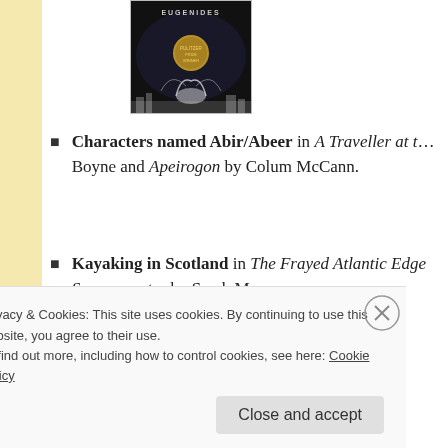[Figure (photo): Book cover showing 'Eugenides' text at top with dark background and gold medal, white smoky figure at bottom]
Characters named Abir/Abeer in A Traveller at the Gates of Wisdom by John Boyne and Apeirogon by Colum McCann.
Kayaking in Scotland in The Frayed Atlantic Edge and Summerwater by Sarah Moss.
Privacy & Cookies: This site uses cookies. By continuing to use this website, you agree to their use.
To find out more, including how to control cookies, see here: Cookie Policy
Close and accept